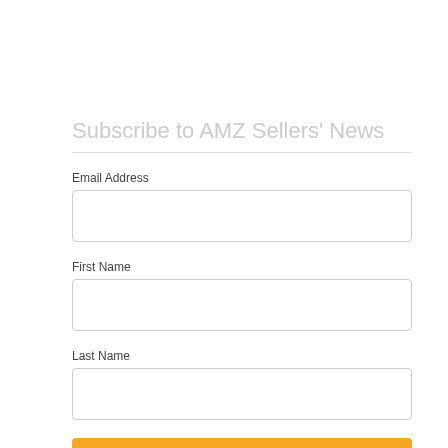Subscribe to AMZ Sellers' News
Email Address
First Name
Last Name
Subscribe to AMZ News